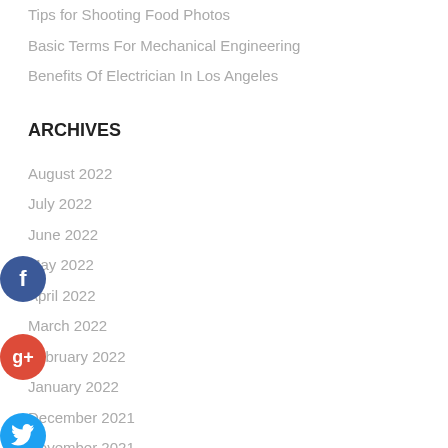Tips for Shooting Food Photos
Basic Terms For Mechanical Engineering
Benefits Of Electrician In Los Angeles
ARCHIVES
August 2022
July 2022
June 2022
May 2022
April 2022
March 2022
February 2022
January 2022
December 2021
November 2021
October 2021
September 2021